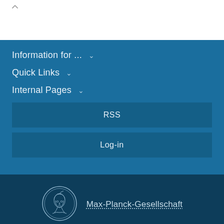Information for ...
Quick Links
Internal Pages
RSS
Log-in
[Figure (logo): Max-Planck-Gesellschaft circular medallion logo with portrait]
Max-Planck-Gesellschaft
Imprint   Privacy Policy   Site Map